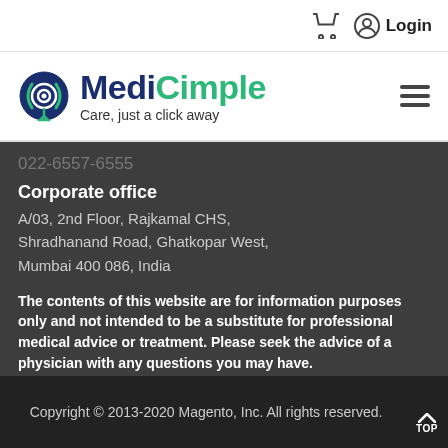Login
[Figure (logo): MediCimple logo with circular WiFi/target icon in teal and navy, text 'MediCimple' in navy and green, tagline 'Care, just a click away']
022-6557-6555
Corporate office
A/03, 2nd Floor, Rajkamal CHS, Shradhanand Road, Ghatkopar West, Mumbai 400 086, India
The contents of this website are for information purposes only and not intended to be a substitute for professional medical advice or treatment. Please seek the advice of a physician with any questions you may have.
Copyright © 2013-2020 Magento, Inc. All rights reserved.